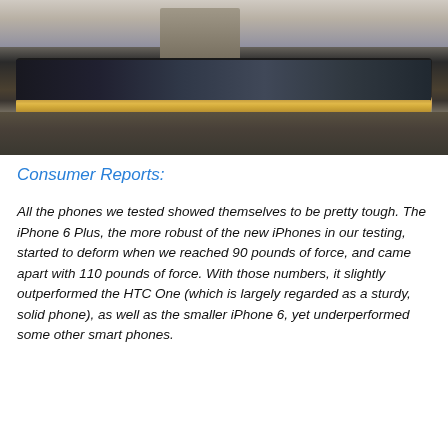[Figure (photo): Side profile photo of an iPhone being bent/tested on a surface, showing the phone's edge and gold band, with what appears to be testing equipment above it.]
Consumer Reports:
All the phones we tested showed themselves to be pretty tough. The iPhone 6 Plus, the more robust of the new iPhones in our testing, started to deform when we reached 90 pounds of force, and came apart with 110 pounds of force. With those numbers, it slightly outperformed the HTC One (which is largely regarded as a sturdy, solid phone), as well as the smaller iPhone 6, yet underperformed some other smart phones.